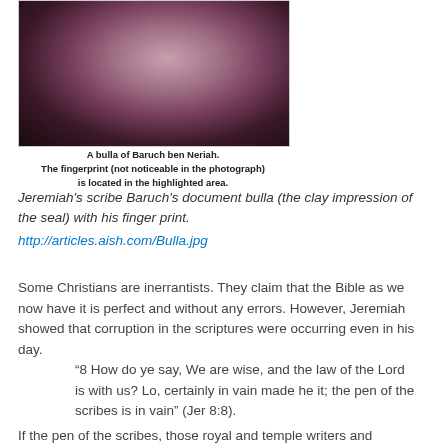[Figure (photo): Close-up photograph of a clay bulla (seal impression) with ancient script markings, dark background with pinkish-purple clay artifact visible]
A bulla of Baruch ben Neriah.
The fingerprint (not noticeable in the photograph)
is located in the highlighted area.
Jeremiah's scribe Baruch's document bulla (the clay impression of the seal) with his finger print.
http://articles.aish.com/Bulla.jpg
Some Christians are inerrantists. They claim that the Bible as we now have it is perfect and without any errors. However, Jeremiah showed that corruption in the scriptures were occurring even in his day.
“8 How do ye say, We are wise, and the law of the Lord is with us? Lo, certainly in vain made he it; the pen of the scribes is in vain” (Jer 8:8).
If the pen of the scribes, those royal and temple writers and